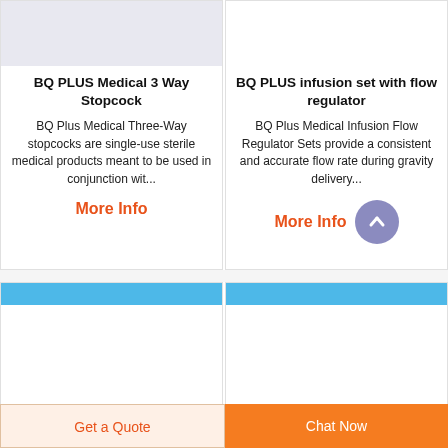[Figure (photo): Product image placeholder for BQ PLUS Medical 3 Way Stopcock (gray background)]
BQ PLUS Medical 3 Way Stopcock
BQ Plus Medical Three-Way stopcocks are single-use sterile medical products meant to be used in conjunction wit...
More Info
[Figure (photo): Product image placeholder for BQ PLUS infusion set with flow regulator (white background)]
BQ PLUS infusion set with flow regulator
BQ Plus Medical Infusion Flow Regulator Sets provide a consistent and accurate flow rate during gravity delivery...
More Info
[Figure (other): Scroll to top button - purple circle with upward arrow]
[Figure (other): Bottom product card left - blue bar header]
[Figure (other): Bottom product card right - blue bar header]
Get a Quote
Chat Now